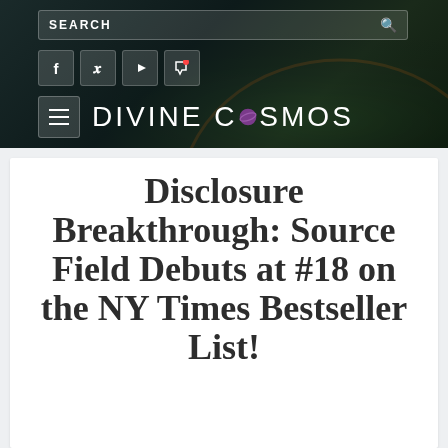SEARCH
[Figure (screenshot): Divine Cosmos website header with search bar, social media icons (Facebook, Twitter, YouTube, cart), hamburger menu, and site logo 'DIVINE COSMOS' with planet graphic]
Disclosure Breakthrough: Source Field Debuts at #18 on the NY Times Bestseller List!